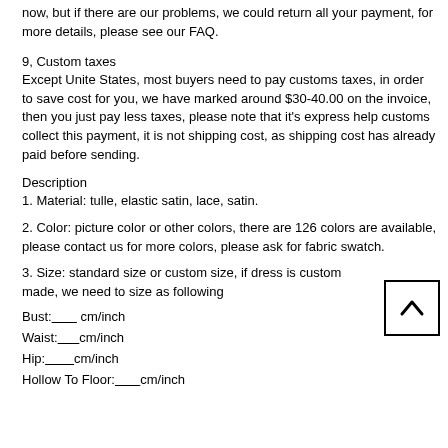now, but if there are our problems, we could return all your payment, for more details, please see our FAQ.
9, Custom taxes
Except Unite States, most buyers need to pay customs taxes, in order to save cost for you, we have marked around $30-40.00 on the invoice, then you just pay less taxes, please note that it's express help customs collect this payment, it is not shipping cost, as shipping cost has already paid before sending.
Description
1. Material: tulle, elastic satin, lace, satin.
2. Color: picture color or other colors, there are 126 colors are available, please contact us for more colors, please ask for fabric swatch.
3. Size: standard size or custom size, if dress is custom made, we need to size as following
Bust:_______ cm/inch
Waist:_______ cm/inch
Hip:________ cm/inch
Hollow To Floor:________ cm/inch